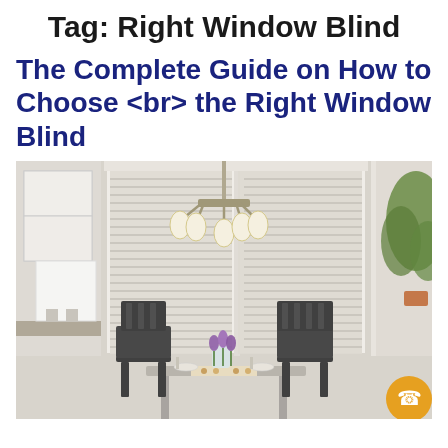Tag: Right Window Blind
The Complete Guide on How to Choose <br> the Right Window Blind
[Figure (photo): Interior dining room with horizontal window blinds partially open, a chandelier light fixture, dark wooden chairs around a gray table with purple tulips in a vase, white kitchen cabinets visible on the left, green plant on the right, and an orange phone button in the bottom-right corner.]